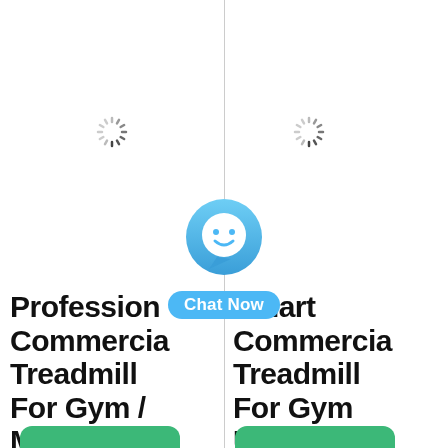[Figure (screenshot): Loading spinner icon on left product card]
[Figure (screenshot): Loading spinner icon on right product card]
[Figure (illustration): Chat Now button with blue chat bubble icon and cyan label]
Professional Commercial Treadmill For Gym / Motorized Treadmill
Smart Commercial Treadmill For Gym Use, Profession